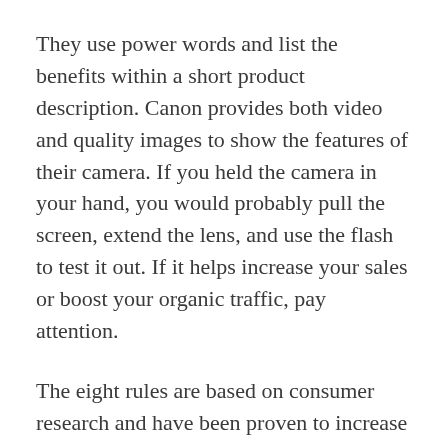They use power words and list the benefits within a short product description. Canon provides both video and quality images to show the features of their camera. If you held the camera in your hand, you would probably pull the screen, extend the lens, and use the flash to test it out. If it helps increase your sales or boost your organic traffic, pay attention.
The eight rules are based on consumer research and have been proven to increase sales.
How do you write a email that sells a product?